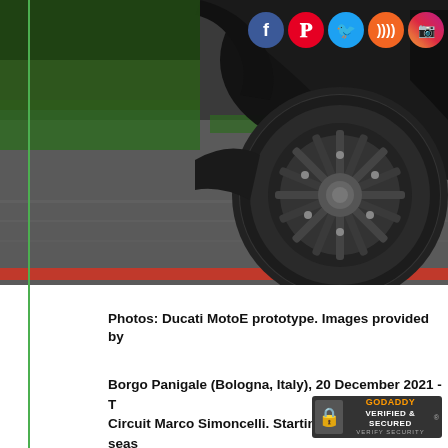[Figure (photo): Close-up photo of a Ducati MotoE prototype motorcycle rear wheel and tire on a racing circuit track, showing the wheel, tire, and rear section of the motorcycle. Social media icons (Facebook, Pinterest, Twitter, RSS, Instagram) overlaid in top-right corner. Track has green and red curbing visible.]
Photos: Ducati MotoE prototype. Images provided by
Borgo Panigale (Bologna, Italy), 20 December 2021 - Circuit Marco Simoncelli. Starting from the 2023 seas supplier of motorcycles for the FIM Vo